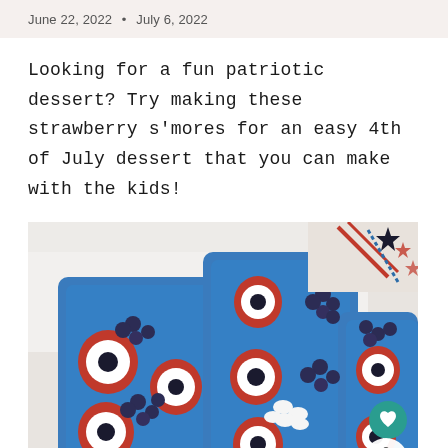June 22, 2022 • July 6, 2022
Looking for a fun patriotic dessert? Try making these strawberry s'mores for an easy 4th of July dessert that you can make with the kids!
[Figure (photo): Three blue trays filled with strawberry s'mores — hollowed strawberries topped with white chocolate and blueberries, arranged alongside mini marshmallows. Patriotic red, white and blue star decorations visible in the top right corner. Two circular action buttons (teal heart, white share) in the bottom right.]